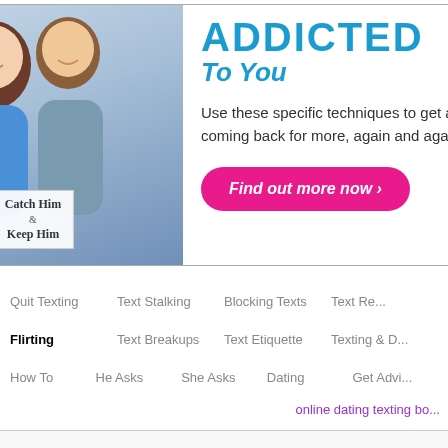[Figure (illustration): Advertisement banner showing a smiling couple (woman and man), with text 'ADDICTED To You' in blue, body text about techniques, a 'Catch Him & Keep Him' logo overlay on photo, a pink 'Find out more now >' button, and a partially visible book on the right edge.]
Quit Texting   Text Stalking   Blocking Texts   Text Re...
Flirting   Text Breakups   Text Etiquette   Texting & D...
How To   He Asks   She Asks   Dating   Get Advi...
online dating texting bo...